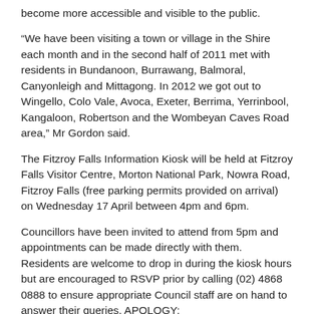become more accessible and visible to the public.
“We have been visiting a town or village in the Shire each month and in the second half of 2011 met with residents in Bundanoon, Burrawang, Balmoral, Canyonleigh and Mittagong. In 2012 we got out to Wingello, Colo Vale, Avoca, Exeter, Berrima, Yerrinbool, Kangaloon, Robertson and the Wombeyan Caves Road area,” Mr Gordon said.
The Fitzroy Falls Information Kiosk will be held at Fitzroy Falls Visitor Centre, Morton National Park, Nowra Road, Fitzroy Falls (free parking permits provided on arrival) on Wednesday 17 April between 4pm and 6pm.
Councillors have been invited to attend from 5pm and appointments can be made directly with them. Residents are welcome to drop in during the kiosk hours but are encouraged to RSVP prior by calling (02) 4868 0888 to ensure appropriate Council staff are on hand to answer their queries. APOLOGY: